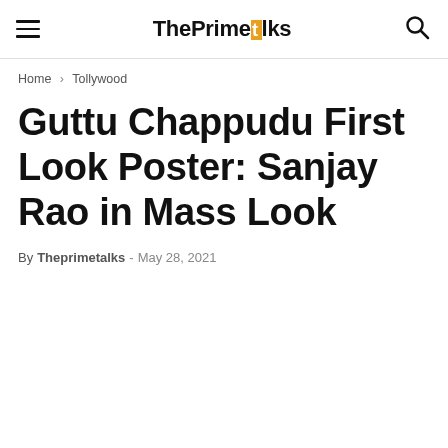ThePrimeTalks
Home › Tollywood
Guttu Chappudu First Look Poster: Sanjay Rao in Mass Look
By Theprimetalks - May 28, 2021